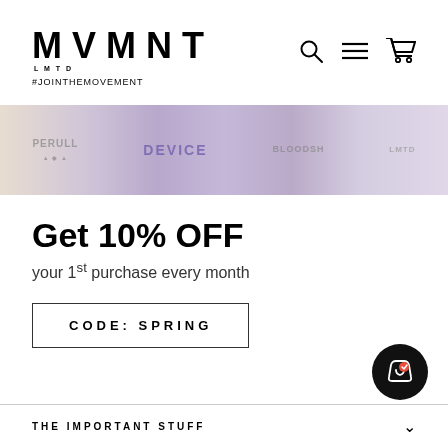[Figure (logo): MVMNT logo with LMTD subtitle and #JOINTHEMOVEMENT tagline]
[Figure (illustration): Navigation icons: search, hamburger menu, cart]
[Figure (photo): Banner image showing merchandise/products with colorful labels]
Get 10% OFF
your 1st purchase every month
CODE: SPRING
[Figure (illustration): Floating shopping bag with heart icon button]
THE IMPORTANT STUFF